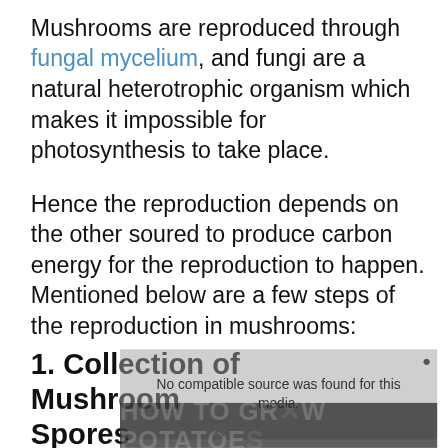Mushrooms are reproduced through fungal mycelium, and fungi are a natural heterotrophic organism which makes it impossible for photosynthesis to take place.
Hence the reproduction depends on the other soured to produce carbon energy for the reproduction to happen. Mentioned below are a few steps of the reproduction in mushrooms:
1. Collection of Mushroom Spores
[Figure (screenshot): Video player overlay showing 'No compatible source was found for this media.' message with a dismiss button, overlaid on a dark background with partially visible text 'USEFUL TIPS ON HOW TO GROW POTATOES' and an X close button.]